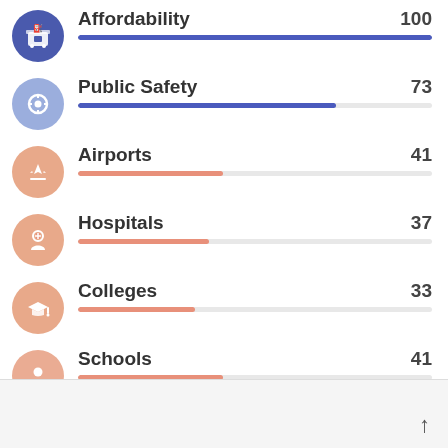[Figure (bar-chart): Category scores]
1 ← Poor    Great → 100
Learn more